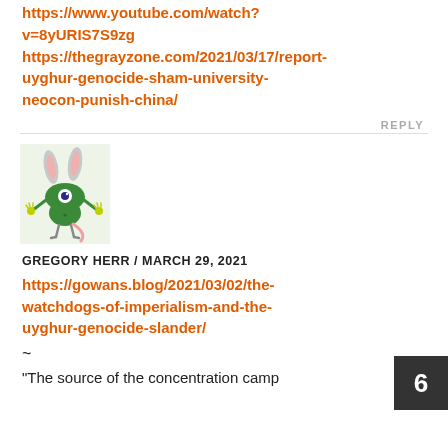https://www.youtube.com/watch?v=8yURIS7S9zg https://thegrayzone.com/2021/03/17/report-uyghur-genocide-sham-university-neocon-punish-china/
REPLY
[Figure (illustration): Green cartoon monster character with rabbit ears, one eye, yellow hands, and a pink tail, standing on thin legs against a light green background]
GREGORY HERR / MARCH 29, 2021
https://gowans.blog/2021/03/02/the-watchdogs-of-imperialism-and-the-uyghur-genocide-slander/
~
“The source of the concentration camp
6